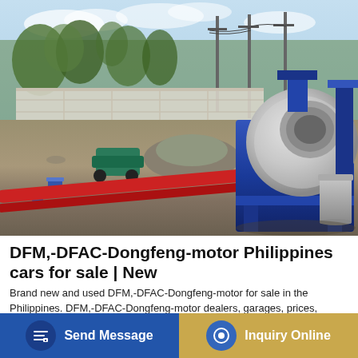[Figure (photo): Construction site with concrete mixer machine (blue and gray), red pipes on gravel ground, trees and power lines in background, Philippines.]
DFM,-DFAC-Dongfeng-motor Philippines cars for sale | New
Brand new and used DFM,-DFAC-Dongfeng-motor for sale in the Philippines. DFM,-DFAC-Dongfeng-motor dealers, garages, prices, values & deals. Currently we have 0 DFM,-DFAC-Dongfeng-motor vehicles for sale. Private sales or pre-owned DFM,-DFAC-Dongfeng-motor or...
Send Message
Inquiry Online